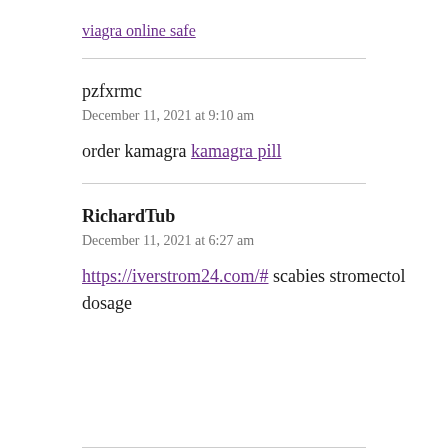viagra online safe
pzfxrmc
December 11, 2021 at 9:10 am
order kamagra kamagra pill
RichardTub
December 11, 2021 at 6:27 am
https://iverstrom24.com/# scabies stromectol dosage